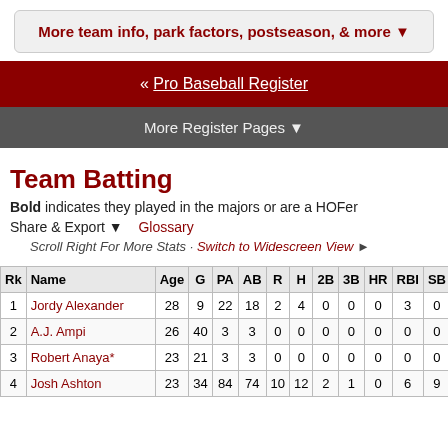More team info, park factors, postseason, & more ▼
« Pro Baseball Register
More Register Pages ▼
Team Batting
Bold indicates they played in the majors or are a HOFer
Share & Export ▼   Glossary
Scroll Right For More Stats · Switch to Widescreen View ►
| Rk | Name | Age | G | PA | AB | R | H | 2B | 3B | HR | RBI | SB | CS | B |
| --- | --- | --- | --- | --- | --- | --- | --- | --- | --- | --- | --- | --- | --- | --- |
| 1 | Jordy Alexander | 28 | 9 | 22 | 18 | 2 | 4 | 0 | 0 | 0 | 3 | 0 | 0 |  |
| 2 | A.J. Ampi | 26 | 40 | 3 | 3 | 0 | 0 | 0 | 0 | 0 | 0 | 0 | 0 |  |
| 3 | Robert Anaya* | 23 | 21 | 3 | 3 | 0 | 0 | 0 | 0 | 0 | 0 | 0 | 0 |  |
| 4 | Josh Ashton | 23 | 34 | 84 | 74 | 10 | 12 | 2 | 1 | 0 | 6 | 9 | 0 |  |